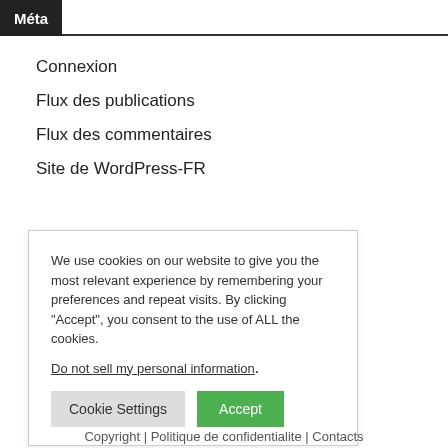Méta
Connexion
Flux des publications
Flux des commentaires
Site de WordPress-FR
We use cookies on our website to give you the most relevant experience by remembering your preferences and repeat visits. By clicking “Accept”, you consent to the use of ALL the cookies.
Do not sell my personal information.
Cookie Settings  Accept
Copyright | Politique de confidentialite | Contacts